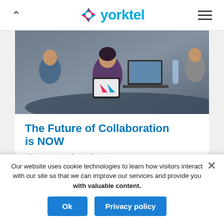yorktel
[Figure (photo): People sitting at a conference table using tablets and laptops in a collaborative meeting setting]
The Future of Collaboration is NOW
Time To Read: 4 Minutes
In April, Cisco announced the coming together of its Cisco Spark and WebEx platforms into a whole new team-centered solution. This new meetings app, called Webex, is designed for teamwork collaboration — complete
Our website uses cookie technologies to learn how visitors interact with our site so that we can improve our services and provide you with valuable content.